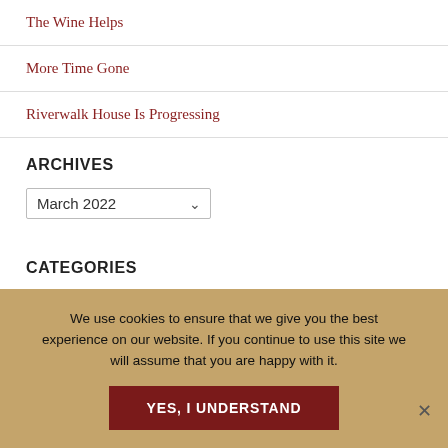The Wine Helps
More Time Gone
Riverwalk House Is Progressing
ARCHIVES
March 2022
CATEGORIES
Blog
We use cookies to ensure that we give you the best experience on our website. If you continue to use this site we will assume that you are happy with it.
YES, I UNDERSTAND